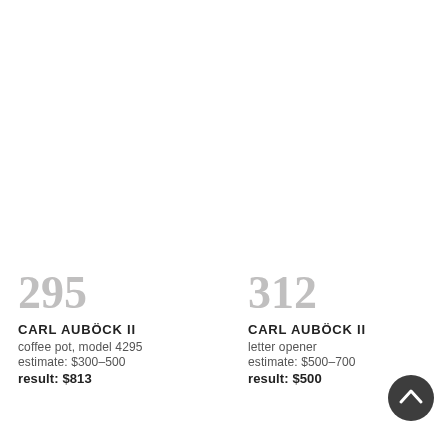295
CARL AUBÖCK II
coffee pot, model 4295
estimate: $300–500
result: $813
312
CARL AUBÖCK II
letter opener
estimate: $500–700
result: $500